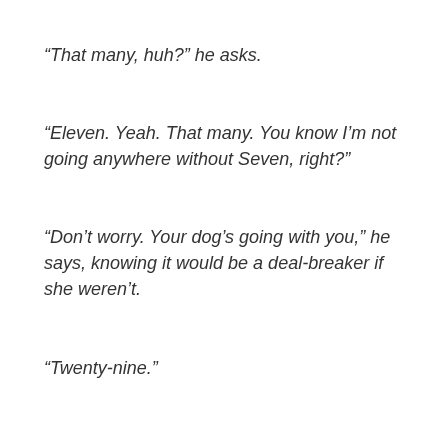“That many, huh?” he asks.
“Eleven. Yeah. That many. You know I’m not going anywhere without Seven, right?”
“Don’t worry. Your dog’s going with you,” he says, knowing it would be a deal-breaker if she weren’t.
“Twenty-nine.”